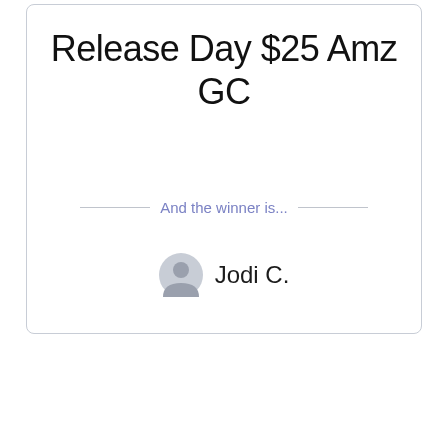Release Day $25 Amz GC
And the winner is...
Jodi C.